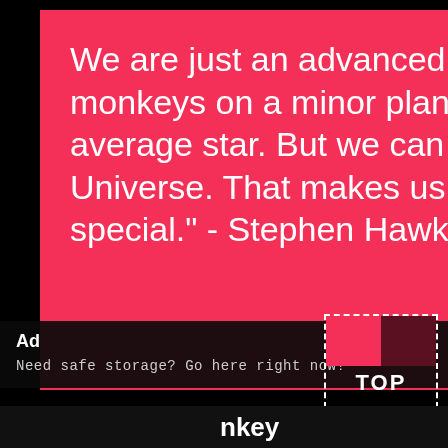We are just an advanced breed of monkeys on a minor planet of a very average star. But we can understand the Universe. That makes us something very special." - Stephen Hawking
Ad
X
Need safe storage? Go here right now!
TOP
nkey